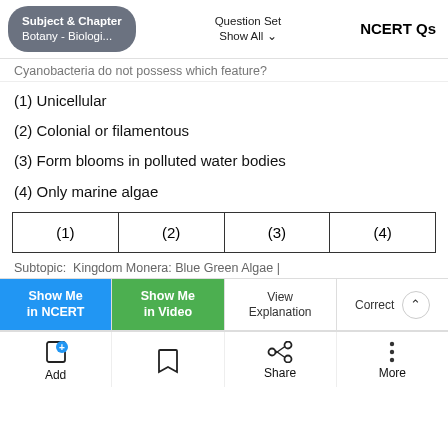Subject & Chapter: Botany - Biologi... | Question Set: Show All | NCERT Qs
Cyanobacteria do not possess which feature?
(1) Unicellular
(2) Colonial or filamentous
(3) Form blooms in polluted water bodies
(4) Only marine algae
| (1) | (2) | (3) | (4) |
| --- | --- | --- | --- |
Subtopic:  Kingdom Monera: Blue Green Algae |
Show Me in NCERT | Show Me in Video | View Explanation | Correct
Add | Share | More